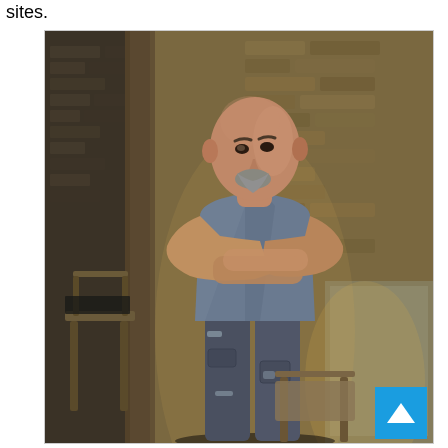sites.
[Figure (photo): A bald man with a grey goatee wearing a grey t-shirt and paint-stained cargo pants stands with arms crossed, leaning against a wall in what appears to be an industrial brick interior space. There is a wooden chair and table visible in the background. A blue scroll-to-top button appears in the lower right corner of the image frame.]